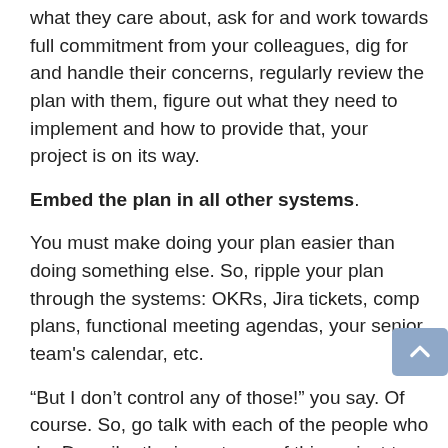what they care about, ask for and work towards full commitment from your colleagues, dig for and handle their concerns, regularly review the plan with them, figure out what they need to implement and how to provide that, your project is on its way.
Embed the plan in all other systems.
You must make doing your plan easier than doing something else. So, ripple your plan through the systems: OKRs, Jira tickets, comp plans, functional meeting agendas, your senior team's calendar, etc.
“But I don’t control any of those!” you say. Of course. So, go talk with each of the people who do. Describe the importance of this project to their goals, and ask them to bake specific alignments into their plan. If you hear No, ask what it would take to turn it into Yes. Half the time, you can see a way to pull this off that they haven’t seen yet. If you don’t ask, that’s zero percent of the